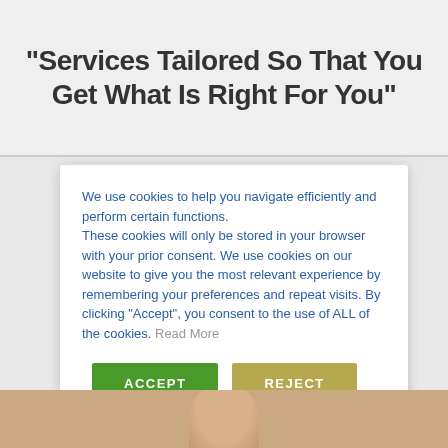"Services Tailored So That You Get What Is Right For You"
We use cookies to help you navigate efficiently and perform certain functions.
These cookies will only be stored in your browser with your prior consent. We use cookies on our website to give you the most relevant experience by remembering your preferences and repeat visits. By clicking “Accept”, you consent to the use of ALL of the cookies. Read More
[Figure (screenshot): Cookie consent dialog with ACCEPT (green) and REJECT (olive/yellow-green) buttons]